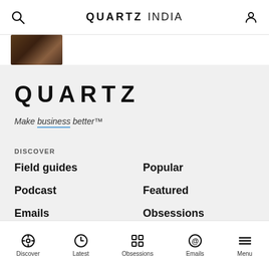QUARTZ INDIA
[Figure (photo): Partially visible thumbnail image at top of page]
QUARTZ
Make business better™
DISCOVER
Field guides
Popular
Podcast
Featured
Emails
Obsessions
Latest
Discover | Latest | Obsessions | Emails | Menu